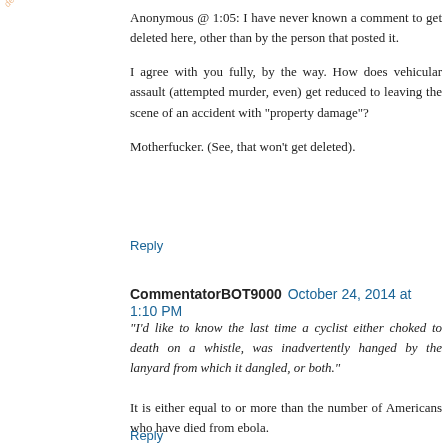Anonymous @ 1:05: I have never known a comment to get deleted here, other than by the person that posted it.

I agree with you fully, by the way. How does vehicular assault (attempted murder, even) get reduced to leaving the scene of an accident with "property damage"?

Motherfucker. (See, that won't get deleted).
Reply
CommentatorBOT9000  October 24, 2014 at 1:10 PM
"I'd like to know the last time a cyclist either choked to death on a whistle, was inadvertently hanged by the lanyard from which it dangled, or both."
It is either equal to or more than the number of Americans who have died from ebola.
Reply